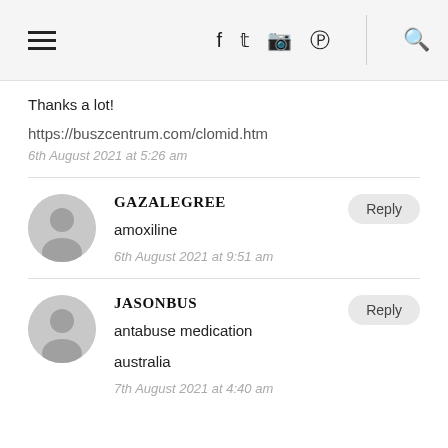Navigation header with hamburger menu, social icons (f, twitter, instagram, pinterest) and search icon
Thanks a lot!
https://buszcentrum.com/clomid.htm
6th August 2021 at 5:26 am
GAZALEGREE
amoxiline
6th August 2021 at 9:51 am
JASONBUS
antabuse medication australia
7th August 2021 at 4:40 am